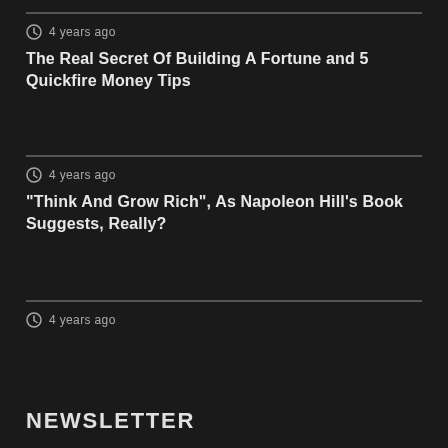4 years ago
The Real Secret Of Building A Fortune and 5 Quickfire Money Tips
4 years ago
“Think And Grow Rich”, As Napoleon Hill’s Book Suggests, Really?
4 years ago
NEWSLETTER